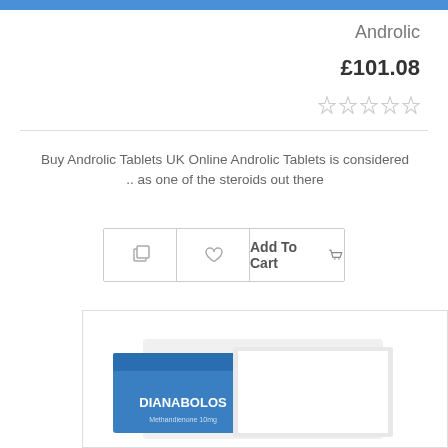Androlic
£101.08
[Figure (other): Five empty star rating icons]
Buy Androlic Tablets UK Online Androlic Tablets is considered .. as one of the steroids out there
[Figure (other): Product action buttons: copy icon, heart/wishlist icon, Add To Cart button with basket icon]
[Figure (photo): Photo of a DIANABOLOS tablet medication box and packaging, white and blue colors]